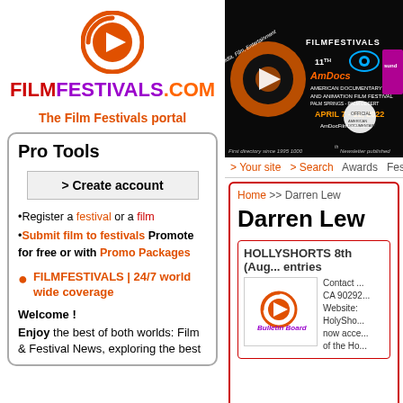[Figure (logo): FilmFestivals.com logo with orange circle play button icon]
FILMFESTIVALS.COM
The Film Festivals portal
[Figure (photo): 11th AmDocs American Documentary and Animation Film Festival banner, April 7-11, 2022, Palm Springs - Palm Desert. First directory since 1995, 1000th Newsletter published.]
> Your site  > Search  Awards  Fes...
Pro Tools
> Create account
Register a festival or a film
Submit film to festivals Promote for free or with Promo Packages
FILMFESTIVALS | 24/7 world wide coverage
Welcome !
Enjoy the best of both worlds: Film & Festival News, exploring the best...
Home >> Darren Lew
Darren Lew
HOLLYSHORTS 8th (Aug... entries
[Figure (logo): Bulletin Board logo with orange circle play button]
Contact ... CA 90292... Website: HolySho... now acce... of the Ho...